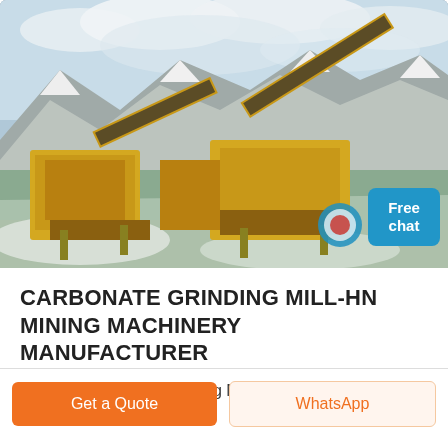[Figure (photo): Mining machinery (yellow crushers and conveyors) on a snowy mountainous terrain with THIQE branding watermark, with a 'Free chat' button overlay and a customer service representative icon in the top right area of the image.]
CARBONATE GRINDING MILL-HN MINING MACHINERY MANUFACTURER
Calcium Carbonate Grinding Mill, Calcium Carbonate ...